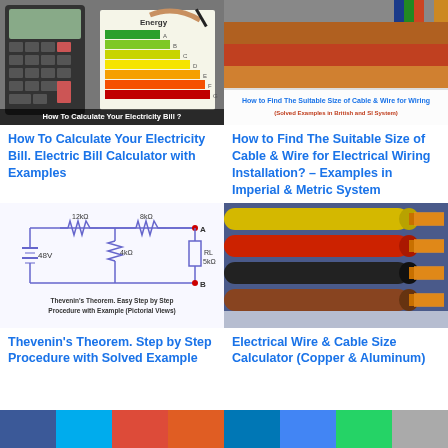[Figure (photo): Person using calculator with energy efficiency chart - How To Calculate Your Electricity Bill]
How To Calculate Your Electricity Bill. Electric Bill Calculator with Examples
[Figure (photo): Multiple electrical cables with colored wires exposed - How to Find The Suitable Size of Cable & Wire for Wiring (Solved Examples in British and SI System)]
How to Find The Suitable Size of Cable & Wire for Electrical Wiring Installation? – Examples in Imperial & Metric System
[Figure (circuit-diagram): Thevenin's Theorem circuit diagram with 48V source, 12kΩ, 8kΩ, 4kΩ resistors and RL 5kΩ load, points A and B labeled]
Thevenin's Theorem. Step by Step Procedure with Solved Example
[Figure (photo): Four electrical wires (yellow, red, black, brown) showing copper conductors - Electrical Wire & Cable Size Calculator]
Electrical Wire & Cable Size Calculator (Copper & Aluminum)